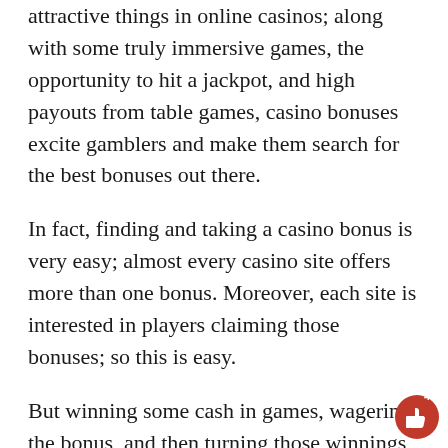attractive things in online casinos; along with some truly immersive games, the opportunity to hit a jackpot, and high payouts from table games, casino bonuses excite gamblers and make them search for the best bonuses out there.
In fact, finding and taking a casino bonus is very easy; almost every casino site offers more than one bonus. Moreover, each site is interested in players claiming those bonuses; so this is easy.
But winning some cash in games, wagering the bonus, and then turning those winnings into real money is the complicated part. Some of the best options are offered by no wagering casino Canada, but still players have to keep in mind some nuances about bonuses and rules applied to them.
[Figure (other): Red circular notification badge with thumbs-up icon and number 48]